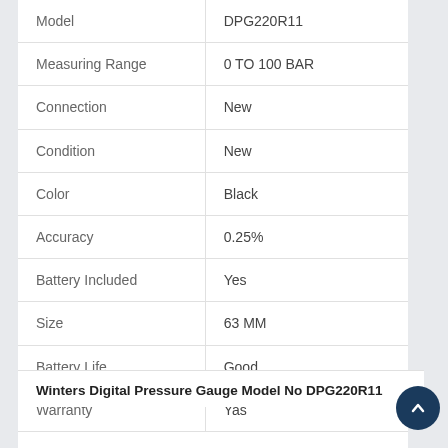|  |  |
| --- | --- |
| Model | DPG220R11 |
| Measuring Range | 0 TO 100 BAR |
| Connection | New |
| Condition | New |
| Color | Black |
| Accuracy | 0.25% |
| Battery Included | Yes |
| Size | 63 MM |
| Battery Life | Good |
| Warranty | Yas |
Winters Digital Pressure Gauge Model No DPG220R11